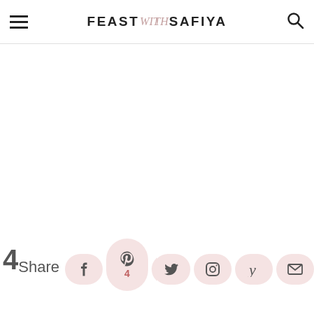FEAST with SAFIYA — navigation header with hamburger menu and search icon
[Figure (screenshot): Blank white content area of a food blog webpage]
4Share — social share bar with Pinterest (4), Facebook, Twitter, Instagram, Yummly, Email buttons